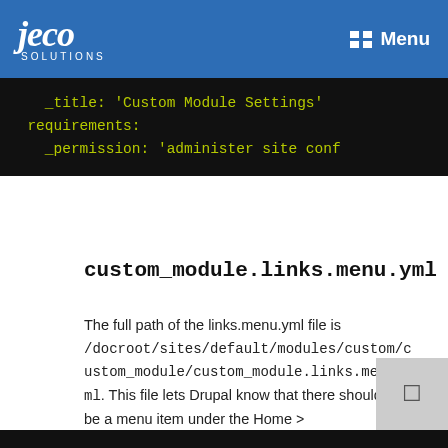jeco SOLUTIONS  Menu
[Figure (screenshot): Code block showing YAML configuration with _title: 'Custom Module Settings', requirements:, _permission: 'administer site conf' on dark background with yellow-green monospace text]
custom_module.links.menu.yml
The full path of the links.menu.yml file is /docroot/sites/default/modules/custom/custom_module/custom_module.links.menu.yml. This file lets Drupal know that there should be a menu item under the Home > Administration > Configuration > Development menu structure with these settings.